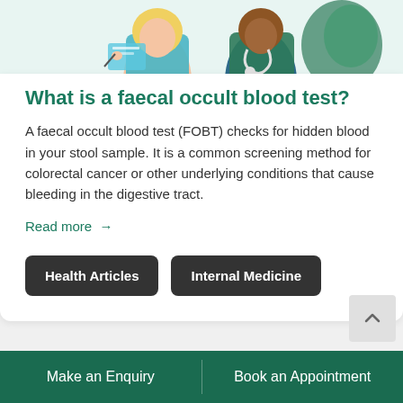[Figure (illustration): Medical illustration showing two doctors/healthcare professionals, one with blonde hair writing on a clipboard and another wearing a stethoscope]
What is a faecal occult blood test?
A faecal occult blood test (FOBT) checks for hidden blood in your stool sample. It is a common screening method for colorectal cancer or other underlying conditions that cause bleeding in the digestive tract.
Read more →
Health Articles
Internal Medicine
Make an Enquiry | Book an Appointment